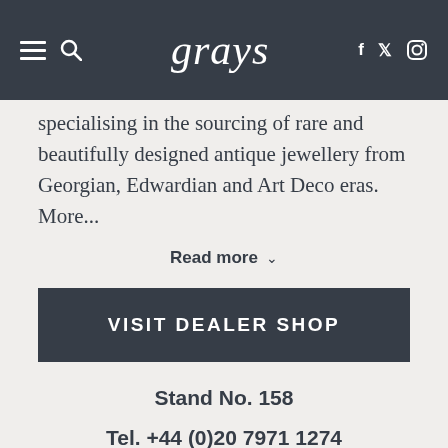grays
specialising in the sourcing of rare and beautifully designed antique jewellery from Georgian, Edwardian and Art Deco eras. More...
Read more ∨
VISIT DEALER SHOP
Stand No. 158
Tel. +44 (0)20 7971 1274